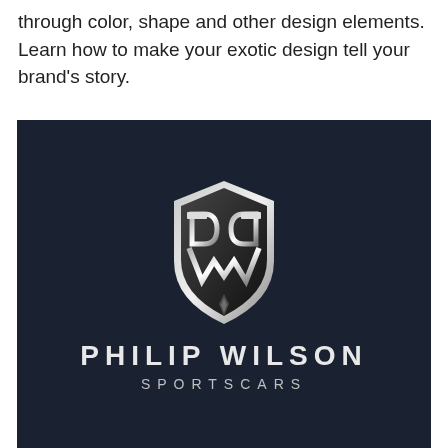through color, shape and other design elements. Learn how to make your exotic design tell your brand's story.
[Figure (logo): Philip Wilson Sportscars logo on dark navy background. A shield emblem containing stylized 'PW' letterforms with chrome/silver metallic finish. Below the shield: 'PHILIP WILSON' in large spaced uppercase letters, and 'SPORTSCARS' in smaller spaced uppercase letters, both in light/white color.]